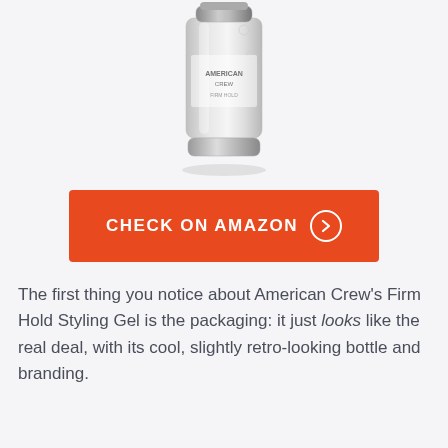[Figure (photo): American Crew Firm Hold Styling Gel bottle — a clear/translucent tube with silver cap and retro-style branding, rendered in grayscale]
CHECK ON AMAZON ❯
The first thing you notice about American Crew's Firm Hold Styling Gel is the packaging: it just looks like the real deal, with its cool, slightly retro-looking bottle and branding.